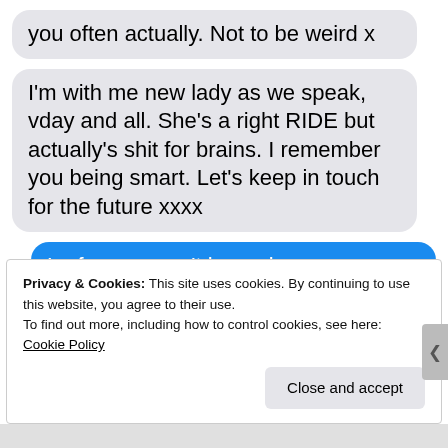[Figure (screenshot): Screenshot of a text message conversation. A grey bubble (incoming) at top: 'you often actually. Not to be weird x'. A grey bubble (incoming): 'I'm with me new lady as we speak, vday and all. She's a right RIDE but actually's shit for brains. I remember you being smart. Let's keep in touch for the future xxxx'. A blue bubble (outgoing): 'Lmfao you can't be serious'. Below that: 'Delivered'. A partial grey bubble: 'Add me on LinkedIn? Xx'. A cookie consent banner overlay at the bottom reading: 'Privacy & Cookies: This site uses cookies. By continuing to use this website, you agree to their use. To find out more, including how to control cookies, see here: Cookie Policy' with a 'Close and accept' button.]